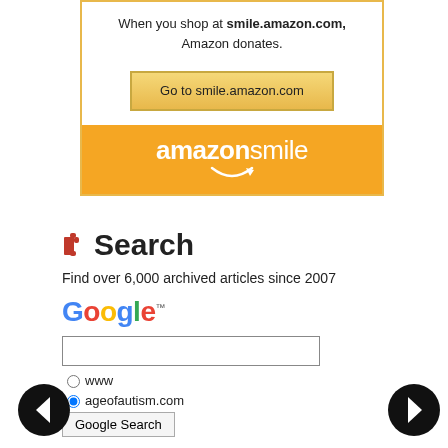[Figure (infographic): Amazon Smile advertisement box with text 'When you shop at smile.amazon.com, Amazon donates.' and a button 'Go to smile.amazon.com', with orange Amazon Smile logo footer]
Search
Find over 6,000 archived articles since 2007
[Figure (logo): Google logo with trademark symbol]
[Figure (screenshot): Google search form with text input, www radio button, ageofautism.com radio button selected, and Google Search button]
[Figure (other): Left navigation arrow (back) and right navigation arrow (forward)]